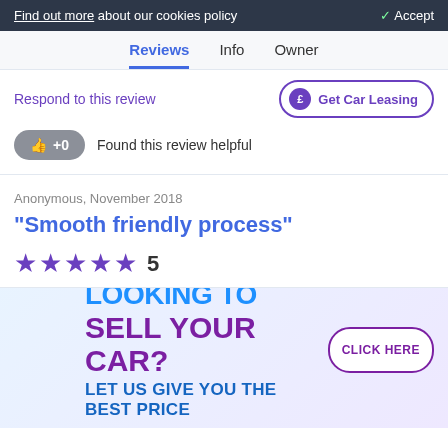Find out more about our cookies policy   ✓ Accept
Reviews  Info  Owner
Respond to this review
Get Car Leasing
👍 +0   Found this review helpful
Anonymous, November 2018
"Smooth friendly process"
★★★★★ 5
[Figure (screenshot): Bottom section showing star ratings and an advertisement overlay: 'LOOKING TO SELL YOUR CAR? LET US GIVE YOU THE BEST PRICE' with a CLICK HERE button]